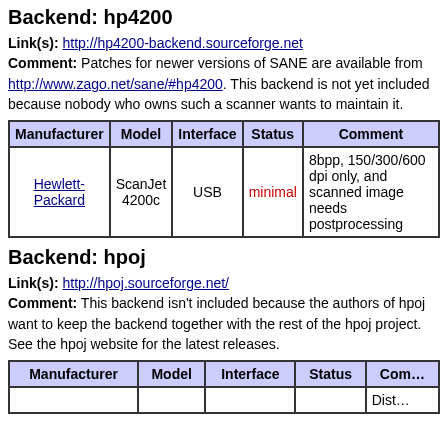Backend: hp4200
Link(s): http://hp4200-backend.sourceforge.net
Comment: Patches for newer versions of SANE are available from http://www.zago.net/sane/#hp4200. This backend is not yet included because nobody who owns such a scanner wants to maintain it.
| Manufacturer | Model | Interface | Status | Comment |
| --- | --- | --- | --- | --- |
| Hewlett-Packard | ScanJet 4200c | USB | minimal | 8bpp, 150/300/600 dpi only, and scanned image needs postprocessing |
Backend: hpoj
Link(s): http://hpoj.sourceforge.net/
Comment: This backend isn't included because the authors of hpoj want to keep the backend together with the rest of the hpoj project. See the hpoj website for the latest releases.
| Manufacturer | Model | Interface | Status | Com... |
| --- | --- | --- | --- | --- |
|  |  |  |  | Dist... |